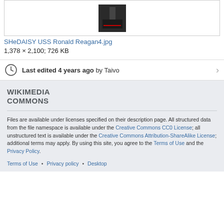[Figure (photo): Thumbnail photo of SHeDAISY USS Ronald Reagan4.jpg showing figures on stage]
SHeDAISY USS Ronald Reagan4.jpg
1,378 × 2,100; 726 KB
Last edited 4 years ago by Taivo
WIKIMEDIA COMMONS
Files are available under licenses specified on their description page. All structured data from the file namespace is available under the Creative Commons CC0 License; all unstructured text is available under the Creative Commons Attribution-ShareAlike License; additional terms may apply. By using this site, you agree to the Terms of Use and the Privacy Policy.
Terms of Use • Privacy policy • Desktop